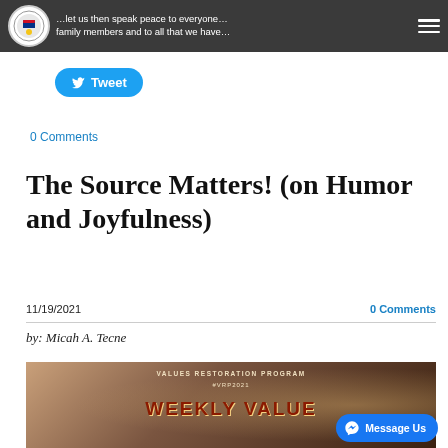…let us then speak peace to everyone… family members and to all that we have…
Tweet
0 Comments
The Source Matters! (on Humor and Joyfulness)
11/19/2021
0 Comments
by: Micah A. Tecne
[Figure (photo): Values Restoration Program #VRP2021 – Weekly Value Focus promotional image with dark warm-toned background]